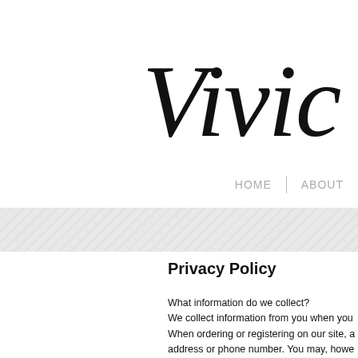[Figure (logo): Cursive script logo text 'Vivic...' (partially visible, cut off at right edge)]
HOME | ABOUT
[Figure (other): Diagonal striped gray banner/divider bar]
Privacy Policy
What information do we collect?
We collect information from you when you
When ordering or registering on our site, a address or phone number. You may, howe
What do we use your information for?
Any of the information we collect from you ; To process transactions
Your information, whether public or private